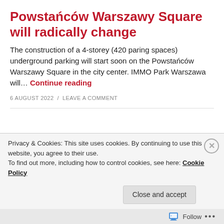Powstańców Warszawy Square will radically change
The construction of a 4-storey (420 paring spaces) underground parking will start soon on the Powstańców Warszawy Square in the city center. IMMO Park Warszawa will… Continue reading
6 AUGUST 2022 / LEAVE A COMMENT
[Figure (photo): Interior architectural render showing a glass ceiling/skylight structure with radiating beams, circular ceiling lights, and greenery on the sides.]
Privacy & Cookies: This site uses cookies. By continuing to use this website, you agree to their use.
To find out more, including how to control cookies, see here: Cookie Policy
Close and accept